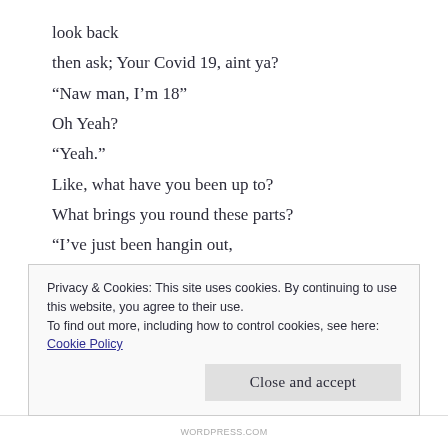look back
then ask; Your Covid 19, aint ya?
“Naw man, I’m 18”
Oh Yeah?
“Yeah.”
Like, what have you been up to?
What brings you round these parts?
“I’ve just been hangin out,
you know, hangin.”
Hanging, huh?
“Yeah.”
Then I looked down at the ground,
kicked a small stone around,
Privacy & Cookies: This site uses cookies. By continuing to use this website, you agree to their use.
To find out more, including how to control cookies, see here: Cookie Policy
Close and accept